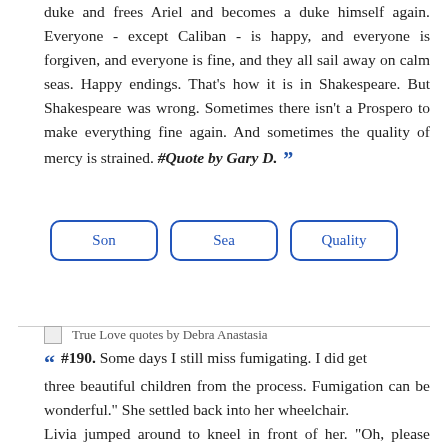duke and frees Ariel and becomes a duke himself again. Everyone - except Caliban - is happy, and everyone is forgiven, and everyone is fine, and they all sail away on calm seas. Happy endings. That's how it is in Shakespeare. But Shakespeare was wrong. Sometimes there isn't a Prospero to make everything fine again. And sometimes the quality of mercy is strained. #Quote by Gary D. ””
Son
Sea
Quality
True Love quotes by Debra Anastasia
““ #190. Some days I still miss fumigating. I did get three beautiful children from the process. Fumigation can be wonderful." She settled back into her wheelchair. Livia jumped around to kneel in front of her. "Oh, please don't say anything to anyone. It's my sister in there with him. I bet he feels so guilty about it." Bea gave a delighted cackle. "I'm sure guilty isn't